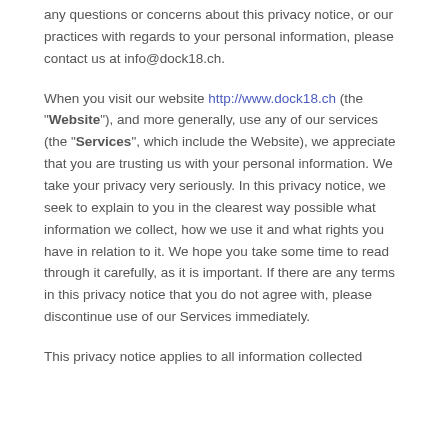any questions or concerns about this privacy notice, or our practices with regards to your personal information, please contact us at info@dock18.ch.
When you visit our website http://www.dock18.ch (the "Website"), and more generally, use any of our services (the "Services", which include the Website), we appreciate that you are trusting us with your personal information. We take your privacy very seriously. In this privacy notice, we seek to explain to you in the clearest way possible what information we collect, how we use it and what rights you have in relation to it. We hope you take some time to read through it carefully, as it is important. If there are any terms in this privacy notice that you do not agree with, please discontinue use of our Services immediately.
This privacy notice applies to all information collected